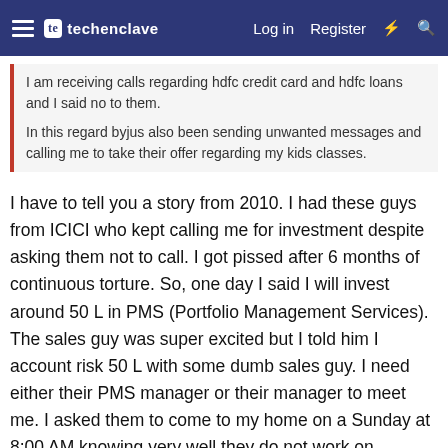techenclave — Log in  Register
I am receiving calls regarding hdfc credit card and hdfc loans and I said no to them.
In this regard byjus also been sending unwanted messages and calling me to take their offer regarding my kids classes.
I have to tell you a story from 2010. I had these guys from ICICI who kept calling me for investment despite asking them not to call. I got pissed after 6 months of continuous torture. So, one day I said I will invest around 50 L in PMS (Portfolio Management Services). The sales guy was super excited but I told him I account risk 50 L with some dumb sales guy. I need either their PMS manager or their manager to meet me. I asked them to come to my home on a Sunday at 8:00 AM knowing very well they do not work on Sundays and that my place is around 25 kms away.
On the said Sunday the Sales guy along with his Branch...